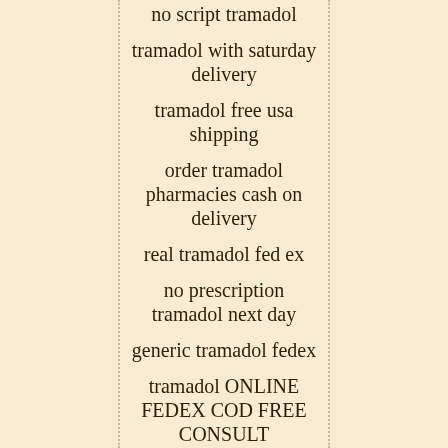no script tramadol
tramadol with saturday delivery
tramadol free usa shipping
order tramadol pharmacies cash on delivery
real tramadol fed ex
no prescription tramadol next day
generic tramadol fedex
tramadol ONLINE FEDEX COD FREE CONSULT
tramadol without rx cod
buy tramadol overnight COD
only tramadol free consult